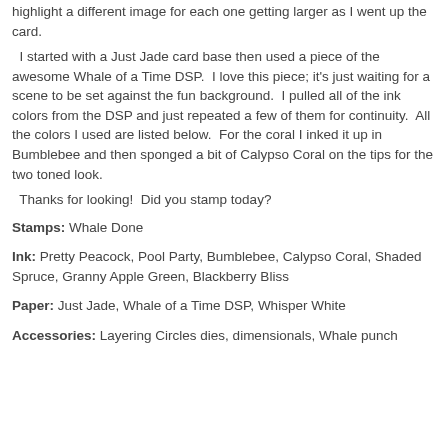highlight a different image for each one getting larger as I went up the card.
I started with a Just Jade card base then used a piece of the awesome Whale of a Time DSP.  I love this piece; it's just waiting for a scene to be set against the fun background.  I pulled all of the ink colors from the DSP and just repeated a few of them for continuity.  All the colors I used are listed below.  For the coral I inked it up in Bumblebee and then sponged a bit of Calypso Coral on the tips for the two toned look.
Thanks for looking!  Did you stamp today?
Stamps: Whale Done
Ink: Pretty Peacock, Pool Party, Bumblebee, Calypso Coral, Shaded Spruce, Granny Apple Green, Blackberry Bliss
Paper: Just Jade, Whale of a Time DSP, Whisper White
Accessories: Layering Circles dies, dimensionals, Whale punch